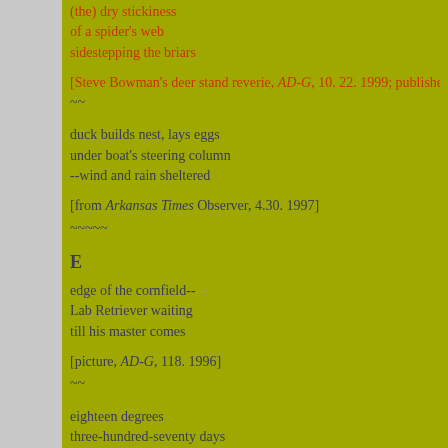(the) dry stickiness
of a spider's web
sidestepping the briars
[Steve Bowman's deer stand reverie, AD-G, 10. 22. 1999; published...
~~
duck builds nest, lays eggs
under boat's steering column
--wind and rain sheltered
[from Arkansas Times Observer, 4.30. 1997]
~~~~~
E
edge of the cornfield--
Lab Retriever waiting
till his master comes
[picture, AD-G, 118. 1996]
~~
eighteen degrees
three-hundred-seventy days
since it was this cold
[TV weatherperson, 1. 2. 2008]